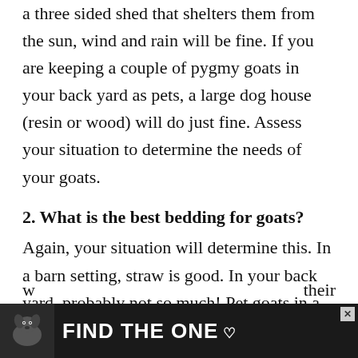a three sided shed that shelters them from the sun, wind and rain will be fine. If you are keeping a couple of pygmy goats in your back yard as pets, a large dog house (resin or wood) will do just fine. Assess your situation to determine the needs of your goats.
2. What is the best bedding for goats?
Again, your situation will determine this. In a barn setting, straw is good. In your back yard, probably not so much! Pet goats in a back yard may do well w[ith...] their do[g house...]
[Figure (other): Advertisement banner: dark background with dog image, text 'FIND THE ONE' with heart symbol, and an X close button.]